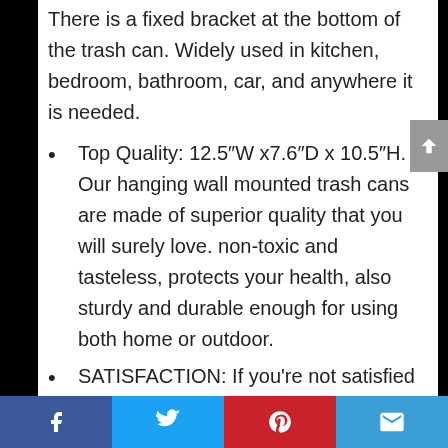There is a fixed bracket at the bottom of the trash can. Widely used in kitchen, bedroom, bathroom, car, and anywhere it is needed.
Top Quality: 12.5″W x7.6″D x 10.5″H. Our hanging wall mounted trash cans are made of superior quality that you will surely love. non-toxic and tasteless, protects your health, also sturdy and durable enough for using both home or outdoor.
SATISFACTION: If you're not satisfied with your purchase, please
Facebook | Twitter | Pinterest | Email